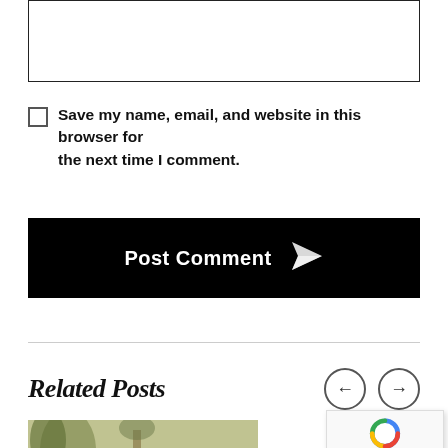[textarea box]
Save my name, email, and website in this browser for the next time I comment.
Post Comment
Related Posts
[Figure (photo): Thumbnail image with greenish/olive tones showing trees and a structure]
[Figure (logo): reCAPTCHA widget with Google logo and Privacy/Terms text]